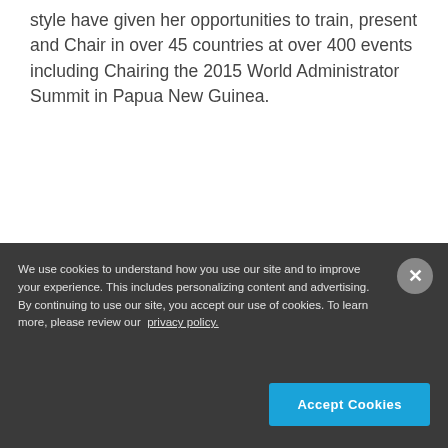style have given her opportunities to train, present and Chair in over 45 countries at over 400 events including Chairing the 2015 World Administrator Summit in Papua New Guinea.
Excited about being interviewed with my
We use cookies to understand how you use our site and to improve your experience. This includes personalizing content and advertising. By continuing to use our site, you accept our use of cookies. To learn more, please review our privacy policy.